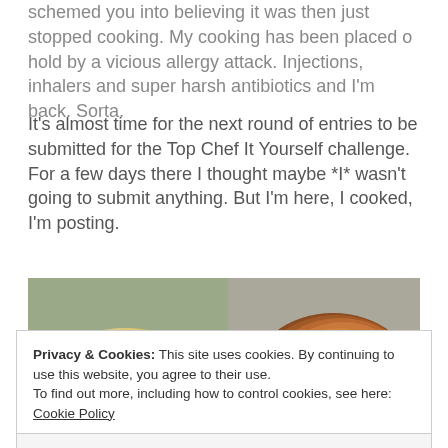schemed you into believing it was then just stopped cooking. My cooking has been placed o hold by a vicious allergy attack. Injections, inhalers and super harsh antibiotics and I'm back. Sorta.
It's almost time for the next round of entries to be submitted for the Top Chef It Yourself challenge. For a few days there I thought maybe *I* wasn't going to submit anything. But I'm here, I cooked, I'm posting.
[Figure (photo): Photo of cooked food items on a plate: golden baked biscuits or mashed potato cakes with herbs on the left, and a roasted/browned meat piece on the right, on a light-colored plate]
Privacy & Cookies: This site uses cookies. By continuing to use this website, you agree to their use.
To find out more, including how to control cookies, see here: Cookie Policy
Close and accept
[Figure (photo): Bottom sliver of another food photo, appears to show a brown/caramel colored food item]